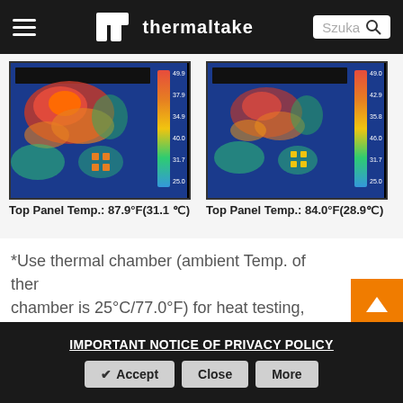thermaltake | Szuka
[Figure (photo): Thermal camera image of PC interior showing heat distribution (warm colors red/orange in hot areas, cool blue elsewhere) with temperature color scale on right side. Top Panel Temp.: 87.9°F(31.1℃)]
Top Panel Temp.: 87.9°F(31.1 ℃)
[Figure (photo): Thermal camera image of PC interior with improved cooling showing less red/orange, more blue/green colors. Temperature color scale on right side. Top Panel Temp.: 84.0°F(28.9℃)]
Top Panel Temp.: 84.0°F(28.9℃)
*Use thermal chamber (ambient Temp. of ther chamber is 25°C/77.0°F) for heat testing, hardware includes:
CPU - Intel Core i7-5960X
M/B - GIGABYTE GA-X99-Gaming G1 (IntelR
IMPORTANT NOTICE OF PRIVACY POLICY